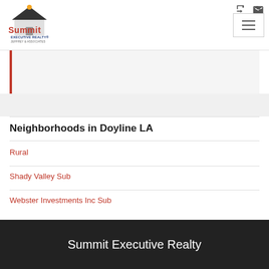[Figure (logo): Summit Executive Realty - Jeffrey & Associates logo with house icon]
Neighborhoods in Doyline LA
Rural
Shady Valley Sub
Webster Investments Inc Sub
Summit Executive Realty